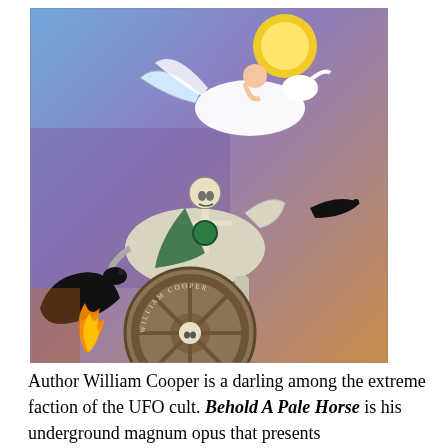[Figure (illustration): Book cover illustration for 'Behold A Pale Horse' by William Cooper. Shows a fantastical painted scene with a skeleton figure riding a pale horse in the foreground, a winged figure (angel or cherub) riding a white Pegasus in the background, a yellow sun, dark ravens, a large mechanical wheel at the bottom with 'William Cooper' written on it, and a black panther. Multi-colored background of purple, blue, and orange.]
Author William Cooper is a darling among the extreme faction of the UFO cult. Behold A Pale Horse is his underground magnum opus that presents "documentation" that UFOs are not only here, but have had a long-standing treaty with the United States government. The point of said contract is to trade humans to the aliens, to use for food or as Guinea pigs, in exchange for technology. The whole deal is somehow tied into conspiracies that go back thousands of years and involve every clandestine group known to mankind. In a nutshell – with the emphasis on